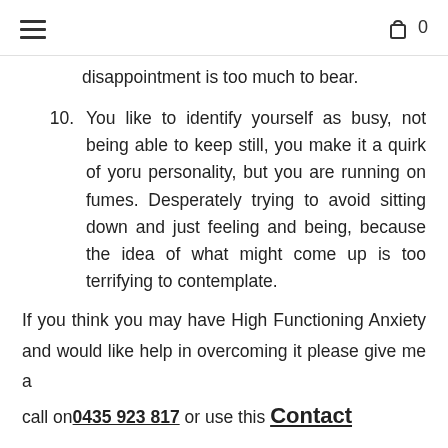≡   [cart icon] 0
disappointment is too much to bear.
10. You like to identify yourself as busy, not being able to keep still, you make it a quirk of yoru personality, but you are running on fumes. Desperately trying to avoid sitting down and just feeling and being, because the idea of what might come up is too terrifying to contemplate.
If you think you may have High Functioning Anxiety and would like help in overcoming it please give me a call on 0435 923 817 or use this Contact